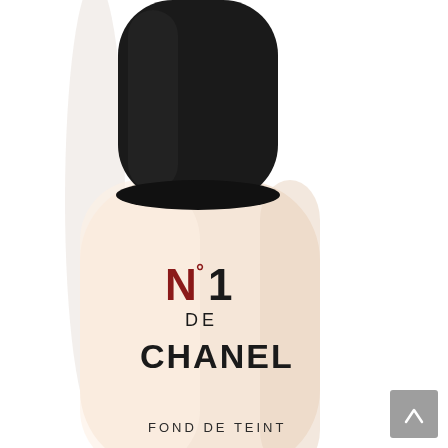[Figure (photo): Close-up product photo of a Chanel foundation bottle with a large black cylindrical pump cap. The bottle body is cream/beige colored and displays the text 'N°1 DE CHANEL' in dark red and black lettering, with 'FOND DE TEINT' partially visible at the bottom. The background is white. A small gray scroll-to-top button with an upward chevron is visible in the bottom right corner.]